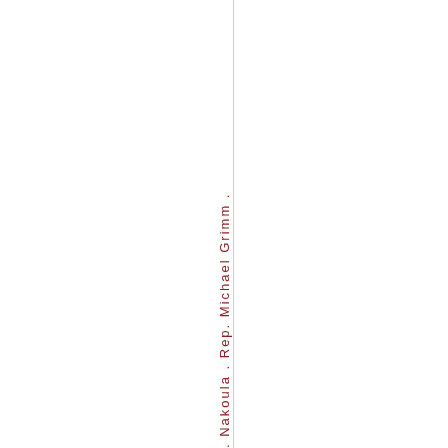. Nakoula . Rep. Michael Grimm .